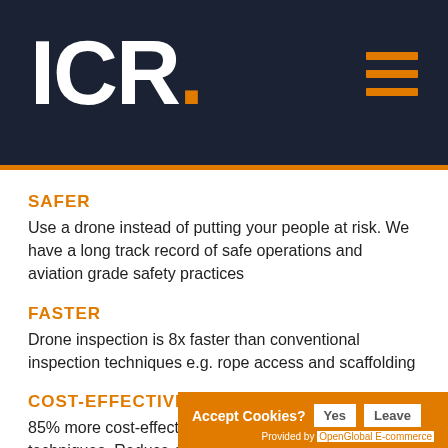ICR.
SAFER
Use a drone instead of putting your people at risk. We have a long track record of safe operations and aviation grade safety practices
FASTER
Drone inspection is 8x faster than conventional inspection techniques e.g. rope access and scaffolding
COST-EFFECTIVE
85% more cost-effective than conventional inspection techniques. Reduce operating costs